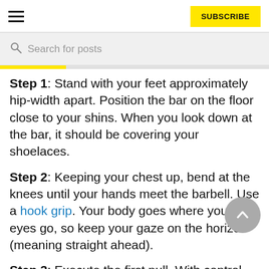SUBSCRIBE
Search for posts
Step 1: Stand with your feet approximately hip-width apart. Position the bar on the floor close to your shins. When you look down at the bar, it should be covering your shoelaces.
Step 2: Keeping your chest up, bend at the knees until your hands meet the barbell. Use a hook grip. Your body goes where your eyes go, so keep your gaze on the horizon (meaning straight ahead).
Step 3: Execute the first pull. With control, start